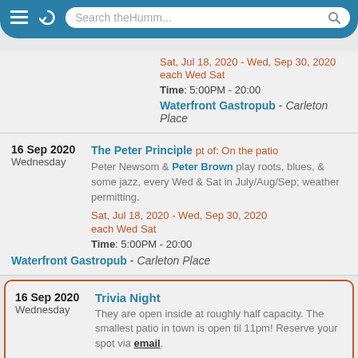Search theHumm...
Sat, Jul 18, 2020 - Wed, Sep 30, 2020
each Wed Sat
Time: 5:00PM - 20:00
Waterfront Gastropub - Carleton Place
16 Sep 2020 Wednesday - The Peter Principle pt of: On the patio
Peter Newsom & Peter Brown play roots, blues, & some jazz, every Wed & Sat in July/Aug/Sep; weather permitting.
Sat, Jul 18, 2020 - Wed, Sep 30, 2020
each Wed Sat
Time: 5:00PM - 20:00
Waterfront Gastropub - Carleton Place
16 Sep 2020 Wednesday - Trivia Night
They are open inside at roughly half capacity. The smallest patio in town is open til 11pm! Reserve your spot via email.
Wed, Jul 29, 2020 - Sat, Oct 31, 2020